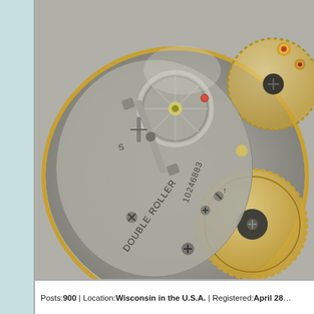[Figure (photo): Close-up photograph of the mechanical movement of a pocket watch, showing gears, balance wheel, jewels, and the text 'DOUBLE ROLLER' and serial number '10246883' engraved on the metal plate.]
Posts: 900 | Location: Wisconsin in the U.S.A. | Registered: April 28...